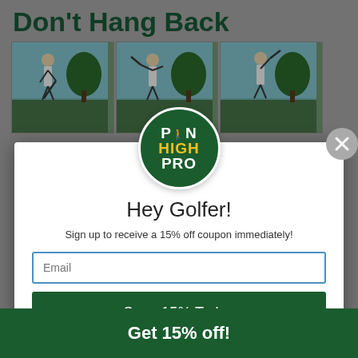Don't Hang Back
[Figure (photo): Three side-by-side panels showing a golfer's swing sequence on a golf course]
[Figure (logo): Pin High Pro circular logo with dark green background and yellow/white text]
Hey Golfer!
Sign up to receive a 15% off coupon immediately!
Email
Save 15% Today
No Thanks, I'll Pay Full Price
Get 15% off!